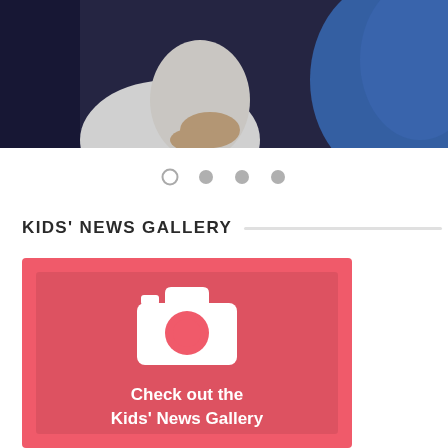[Figure (photo): Partial photo of a person in white clothing sitting near a blue inflatable or cushioned object, cropped at the top of the page]
[Figure (other): Carousel navigation dots: one open circle (active) and three filled grey circles]
KIDS' NEWS GALLERY
[Figure (illustration): Red/coral banner with a white camera icon and bold white text reading 'Check out the Kids' News Gallery']